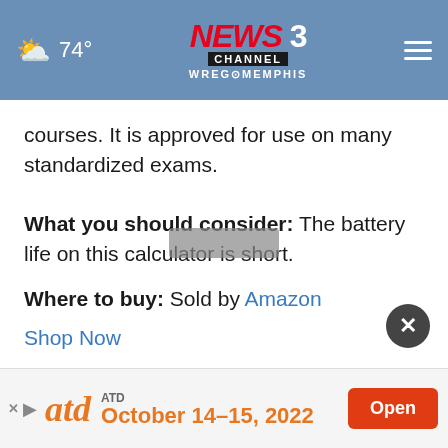74° NEWS CHANNEL 3 WREG MEMPHIS
courses. It is approved for use on many standardized exams.
What you should consider: The battery life on this calculator is short.
Where to buy: Sold by Amazon
Shop Now
Worth checking out
[Figure (other): Partial view of a calculator product image at the bottom of the page]
[Figure (other): Advertisement banner: ATD October 14-15, 2022 with Open button]